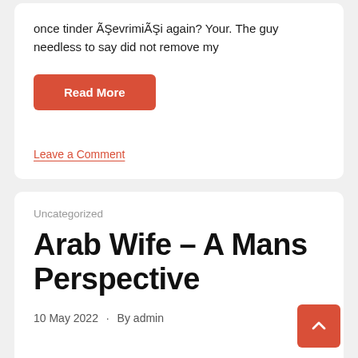once tinder ÃŞevrimiÃŞi again? Your. The guy needless to say did not remove my
Read More
Leave a Comment
Uncategorized
Arab Wife – A Mans Perspective
10 May 2022 · By admin